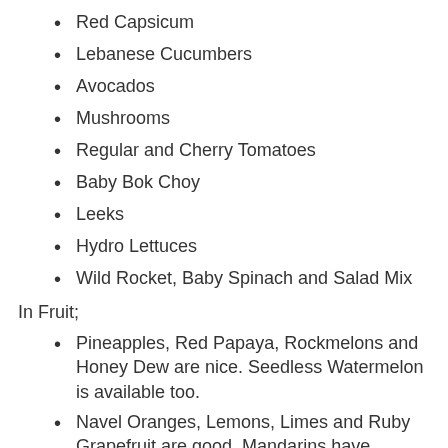Red Capsicum
Lebanese Cucumbers
Avocados
Mushrooms
Regular and Cherry Tomatoes
Baby Bok Choy
Leeks
Hydro Lettuces
Wild Rocket, Baby Spinach and Salad Mix
In Fruit;
Pineapples, Red Papaya, Rockmelons and Honey Dew are nice. Seedless Watermelon is available too.
Navel Oranges, Lemons, Limes and Ruby Grapefruit are good. Mandarins have finished. We have switched to Valencia for our 2nds Oranges.